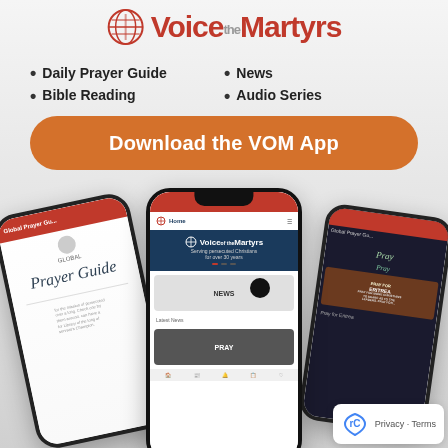[Figure (logo): Voice of the Martyrs logo with globe icon and red italic text]
• Daily Prayer Guide
• Bible Reading
• News
• Audio Series
Download the VOM App
[Figure (photo): Three smartphones showing the VOM app interface: left phone angled showing Prayer Guide screen, center phone showing Voice of the Martyrs home screen with News and Pray sections, right phone angled showing prayer guide content]
Privacy · Terms